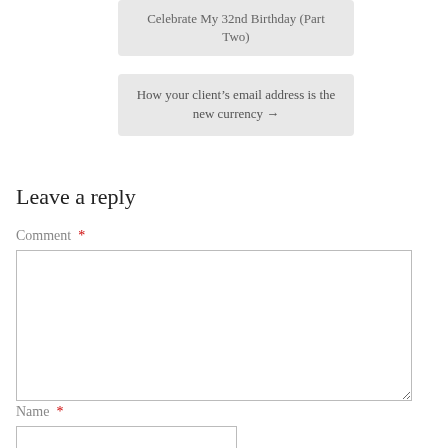Celebrate My 32nd Birthday (Part Two)
How your client’s email address is the new currency →
Leave a reply
Comment *
Name *